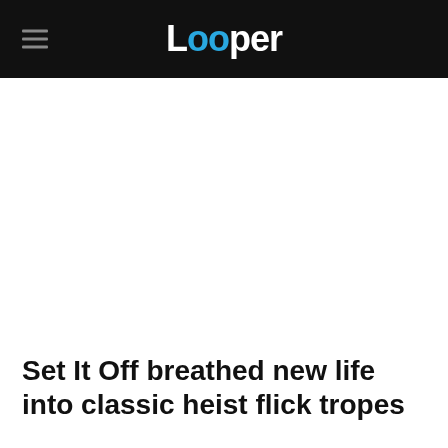Looper
Set It Off breathed new life into classic heist flick tropes